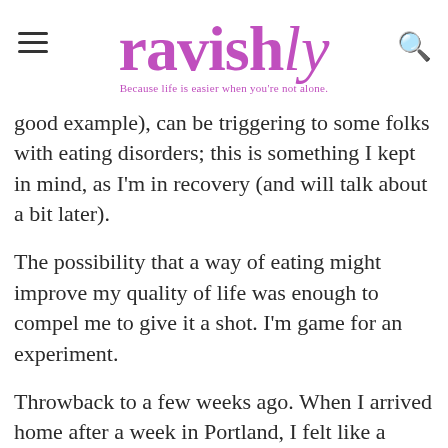ravishly — Because life is easier when you're not alone.
good example), can be triggering to some folks with eating disorders; this is something I kept in mind, as I'm in recovery (and will talk about a bit later).
The possibility that a way of eating might improve my quality of life was enough to compel me to give it a shot. I'm game for an experiment.
Throwback to a few weeks ago. When I arrived home after a week in Portland, I felt like a sorry sack of trash. I can't even estimate the amount of refined carbs and sugar I ate while I was gone. In the last 24 hours alone. I ate the best almond